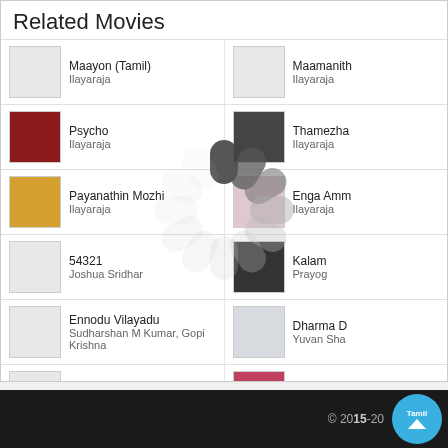Related Movies
Maayon (Tamil) / Ilayaraja
Maamanith... / Ilayaraja
Psycho / Ilayaraja
Thamezha... / Ilayaraja
Payanathin Mozhi / Ilayaraja
Enga Amm... / Ilayaraja
54321 / Joshua Sridhar
Kalam / Prayog
Ennodu Vilayadu / Sudharshan M Kumar, Gopi Krishna
Dharma D... / Yuvan Sha...
Kathakali / Hiphop Tamizha
Kanithan / Drums Siv...
Irudhi Suttru / Santhosh Narayanan
Acham En... / A. R. Rahm...
[Figure (infographic): Loading spinner overlay in center of page]
Tamil... © 2015-20...